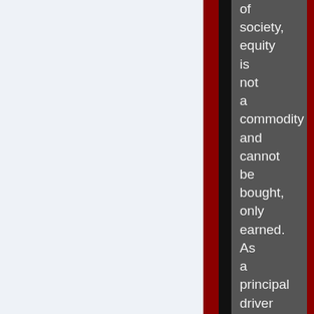of society, equity is not a commodity and cannot be bought, only earned. As a principal driver of sovereign praxis, I observe this principle